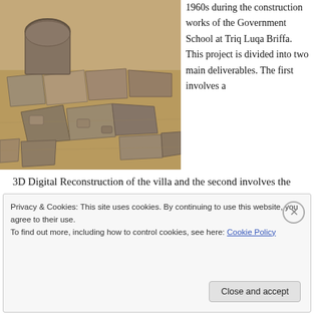[Figure (photo): Archaeological excavation site showing ancient stone ruins, stone blocks and columns on sandy ground, viewed from above at an angle.]
1960s during the construction works of the Government School at Triq Luqa Briffa. This project is divided into two main deliverables. The first involves a 3D Digital Reconstruction of the villa and the second involves the production of an animation aimed at explaining the olive oil production on the villa site during
Privacy & Cookies: This site uses cookies. By continuing to use this website, you agree to their use.
To find out more, including how to control cookies, see here: Cookie Policy
Close and accept